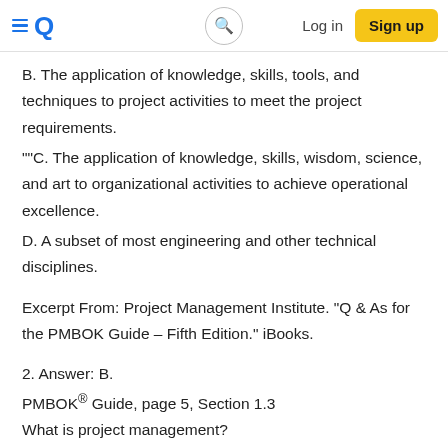≡Q   🔍   Log in   Sign up
B. The application of knowledge, skills, tools, and techniques to project activities to meet the project requirements.
""C. The application of knowledge, skills, wisdom, science, and art to organizational activities to achieve operational excellence.
D. A subset of most engineering and other technical disciplines.
Excerpt From: Project Management Institute. "Q & As for the PMBOK Guide – Fifth Edition." iBooks.
2. Answer: B.
PMBOK® Guide, page 5, Section 1.3
What is project management?